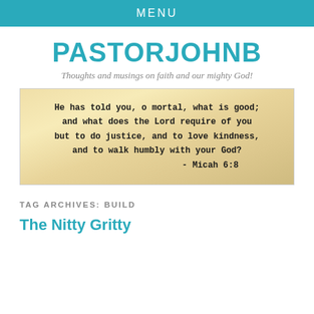MENU
PASTORJOHNB
Thoughts and musings on faith and our mighty God!
[Figure (illustration): Parchment-style banner with handwritten-style text of Micah 6:8 quote: 'He has told you, o mortal, what is good; and what does the Lord require of you but to do justice, and to love kindness, and to walk humbly with your God? - Micah 6:8']
TAG ARCHIVES: BUILD
The Nitty Gritty